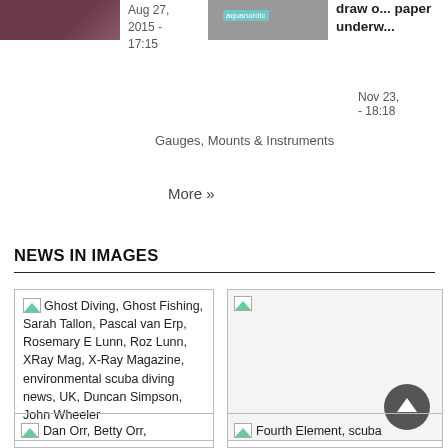[Figure (photo): Thumbnail image top-left, dark purple/brown tones]
Aug 27, 2015 - 17:15
[Figure (photo): Thumbnail image center-top with teal badge]
draw o... paper underw...
Nov 23, - 18:18
Gauges, Mounts & Instruments
More »
NEWS IN IMAGES
[Figure (photo): Ghost Diving news image thumbnail with green tree icon]
Ghost Diving, Ghost Fishing, Sarah Tallon, Pascal van Erp, Rosemary E Lunn, Roz Lunn, XRay Mag, X-Ray Magazine, environmental scuba diving news, UK, Duncan Simpson, John Wheeler
[Figure (photo): Right news image box with green icon and scroll-to-top button]
[Figure (photo): Dan Orr, Betty Orr thumbnail bottom-left]
Dan Orr, Betty Orr,
[Figure (photo): Fourth Element, scuba thumbnail bottom-right]
Fourth Element, scuba